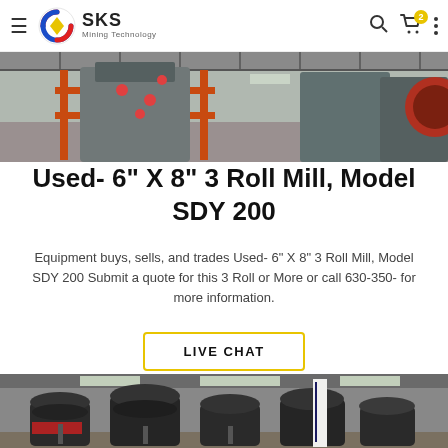SKS Mining Technology
[Figure (photo): Industrial machinery and equipment inside a manufacturing facility with orange scaffolding]
Used- 6" X 8" 3 Roll Mill, Model SDY 200
Equipment buys, sells, and trades Used- 6" X 8" 3 Roll Mill, Model SDY 200 Submit a quote for this 3 Roll or More or call 630-350- for more information.
LIVE CHAT
[Figure (photo): Industrial crushers or mills lined up inside a large factory warehouse building]